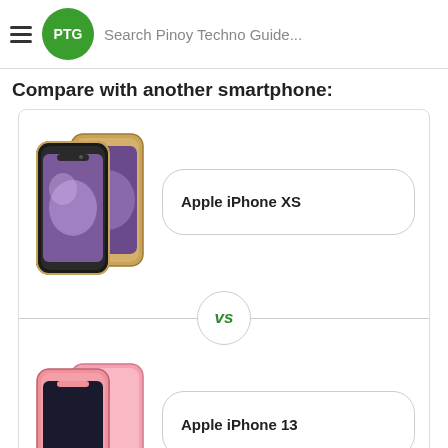Search Pinoy Techno Guide...
Compare with another smartphone:
[Figure (photo): Apple iPhone XS product image showing front and back of the phone in gold color]
Apple iPhone XS
vs
[Figure (photo): Apple iPhone 13 product image showing front and back of the phone in pink color]
Apple iPhone 13